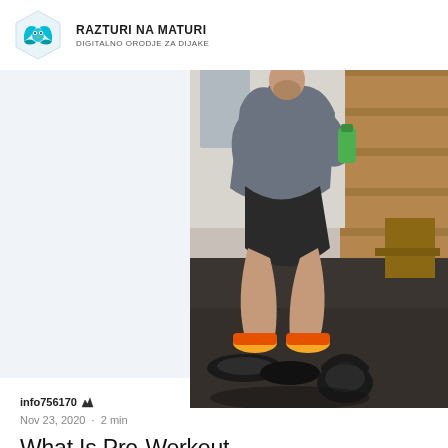RAZTURI NA MATURI
DIGITALNO ORODJE ZA DIJAKE
[Figure (photo): A man in a grey hoodie squatting in a gym, holding a green water bottle, with kettlebells and weight plates on the floor in front of him. He is wearing yellow sneakers.]
info756170 👑
Nov 23, 2020 · 2 min
What Is Pre-Workout and How Does It